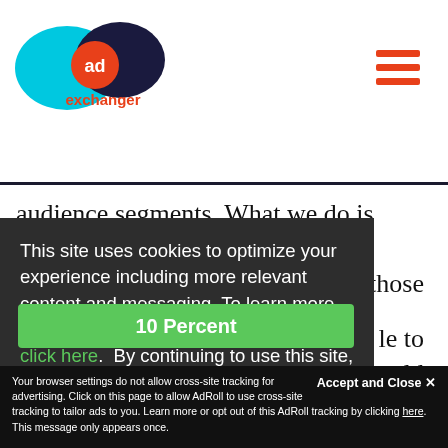AdExchanger logo and navigation
audience segments. What we do is figure out how
those
This site uses cookies to optimize your experience including more relevant content and messaging. To learn more about disabling cookies in your browser, click here. By continuing to use this site, you accept our use of cookies. For more information, view our updated Privacy Policy.
le to
sold
So
atic
get
10 Percent
Accept and Close
Your browser settings do not allow cross-site tracking for advertising. Click on this page to allow AdRoll to use cross-site tracking to tailor ads to you. Learn more or opt out of this AdRoll tracking by clicking here. This message only appears once.